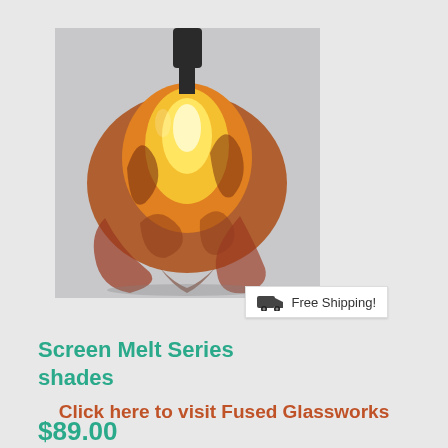[Figure (photo): A glass pendant lamp shade from the Screen Melt Series, showing an amber/brown/red swirled art glass shade lit from within, hanging from a dark metal fixture. A white badge overlay reads 'Free Shipping!' with a truck icon.]
Screen Melt Series shades
$89.00
Click here to visit Fused Glassworks